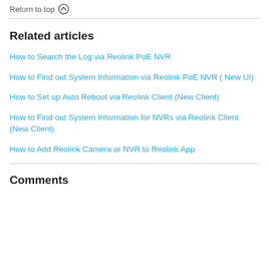Return to top ↑
Related articles
How to Search the Log via Reolink PoE NVR
How to Find out System Information via Reolink PoE NVR ( New UI)
How to Set up Auto Reboot via Reolink Client (New Client)
How to Find out System Information for NVRs via Reolink Client (New Client)
How to Add Reolink Camera or NVR to Reolink App
Comments